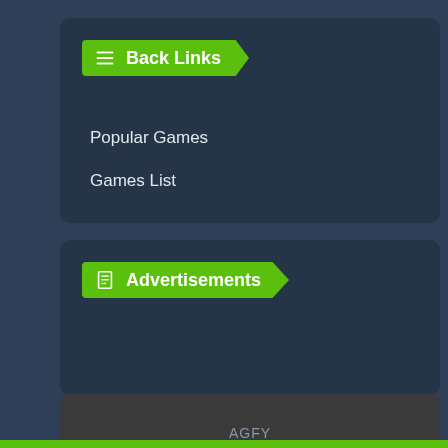Back Links
Popular Games
Games List
Advertisements
AGFY
© Copyright 2022, All Rights Reserved |